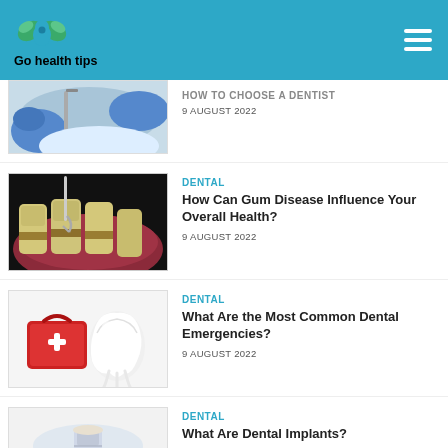Go health tips
[Figure (screenshot): Partial article thumbnail showing dentist tools with gloved hands, partially cropped at top]
9 AUGUST 2022
DENTAL
[Figure (illustration): 3D illustration of teeth being cleaned/scaled with dental tool on gum disease]
How Can Gum Disease Influence Your Overall Health?
9 AUGUST 2022
DENTAL
[Figure (illustration): Illustration of a red first aid kit box and a white tooth model]
What Are the Most Common Dental Emergencies?
9 AUGUST 2022
DENTAL
What Are Dental Implants?